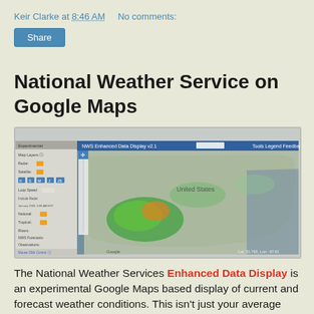Keir Clarke at 8:46 AM    No comments:
Share
National Weather Service on Google Maps
[Figure (screenshot): Screenshot of NWS Enhanced Data Display v2.1 showing a Google Maps interface with weather radar overlay showing storm systems over the United States, with a left panel showing map layer controls.]
The National Weather Services Enhanced Data Display is an experimental Google Maps based display of current and forecast weather conditions. This isn't just your average